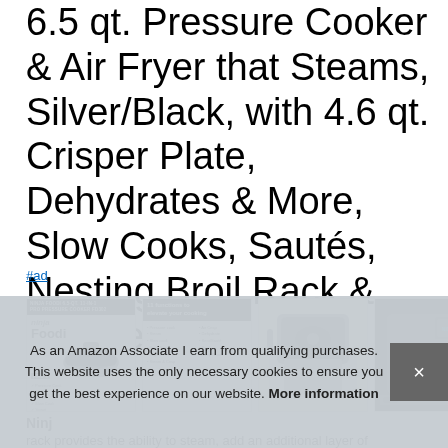6.5 qt. Pressure Cooker & Air Fryer that Steams, Silver/Black, with 4.6 qt. Crisper Plate, Dehydrates & More, Slow Cooks, Sautés, Nesting Broil Rack & Recipe Book
#ad
[Figure (screenshot): Four product image thumbnails of a Ninja Foodi Pro pressure cooker/air fryer: first shows product spec sheet with 'Ninja Foodi PRO' heading on black background; second shows '11 functions to elevate your cooking' on black background with function list; third shows the appliance in a kitchen setting; fourth shows close-up of the appliance with control panel]
Ninja
rack provides the ability to steam, add an additional layer of
As an Amazon Associate I earn from qualifying purchases. This website uses the only necessary cookies to ensure you get the best experience on our website. More information